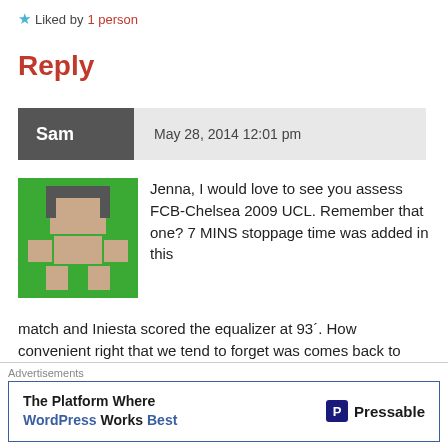★ Liked by 1 person
Reply
Sam   May 28, 2014 12:01 pm
[Figure (illustration): Pixel art avatar: green background with pink/beige character shape resembling a figure with a helmet]
Jenna, I would love to see you assess FCB-Chelsea 2009 UCL. Remember that one? 7 MINS stoppage time was added in this match and Iniesta scored the equalizer at 93´. How convenient right that we tend to forget was comes back to haunt us. The thing is, all these antimadridistas shouldn`t say anything when their teams have done it and been there befor...
Advertisements
The Platform Where WordPress Works Best   Pressable